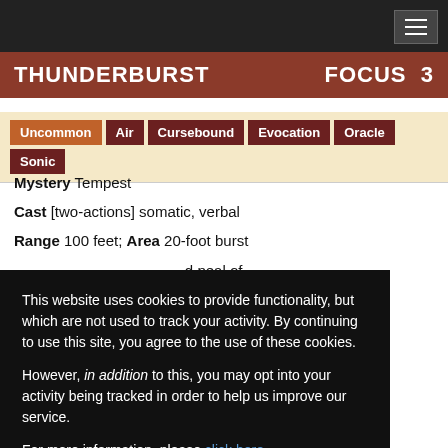THUNDERBURST   FOCUS   3
Uncommon | Air | Cursebound | Evocation | Oracle | Sonic
Mystery Tempest
Cast [two-actions] somatic, verbal
Range 100 feet; Area 20-foot burst
...d peal of ...e and 2d6 sonic
...ortitude save.
...
...is deafened for 1 minute
This website uses cookies to provide functionality, but which are not used to track your activity. By continuing to use this site, you agree to the use of these cookies.

However, in addition to this, you may opt into your activity being tracked in order to help us improve our service.

For more information, please click here